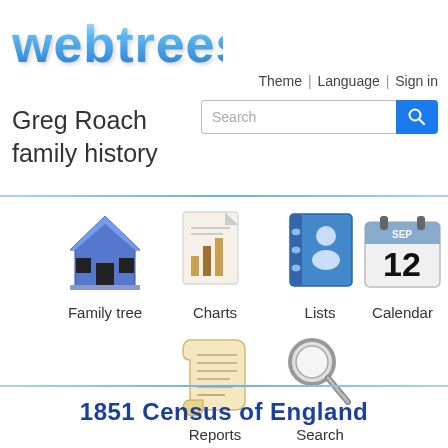webtrees
Theme | Language | Sign in
Greg Roach family history
[Figure (screenshot): Navigation icons: Family tree (house), Charts (bar chart document), Lists (address book), Calendar (Sep 12), Reports (scroll), Search (magnifying glass)]
1851 Census of England